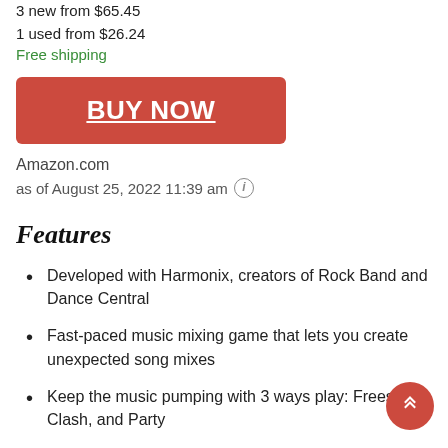3 new from $65.45
1 used from $26.24
Free shipping
BUY NOW
Amazon.com
as of August 25, 2022 11:39 am
Features
Developed with Harmonix, creators of Rock Band and Dance Central
Fast-paced music mixing game that lets you create unexpected song mixes
Keep the music pumping with 3 ways play: Freestyle, Clash, and Party